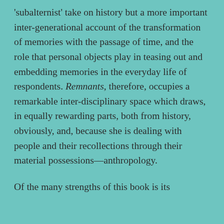'subalternist' take on history but a more important inter-generational account of the transformation of memories with the passage of time, and the role that personal objects play in teasing out and embedding memories in the everyday life of respondents. Remnants, therefore, occupies a remarkable inter-disciplinary space which draws, in equally rewarding parts, both from history, obviously, and, because she is dealing with people and their recollections through their material possessions—anthropology.

Of the many strengths of this book is its